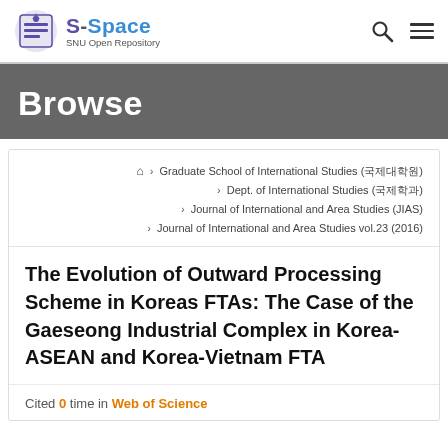S-Space SNU Open Repository
Browse
⌂ > Graduate School of International Studies (국제대학원) > Dept. of International Studies (국제학과) > Journal of International and Area Studies (JIAS) > Journal of International and Area Studies vol.23 (2016)
The Evolution of Outward Processing Scheme in Koreas FTAs: The Case of the Gaeseong Industrial Complex in Korea-ASEAN and Korea-Vietnam FTA
Cited 0 time in Web of Science